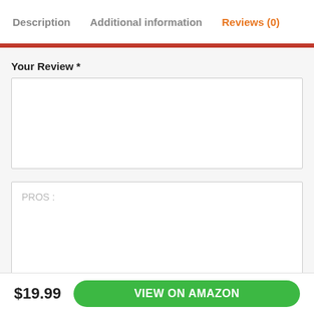Description  Additional information  Reviews (0)
Your Review *
PROS:
$19.99
VIEW ON AMAZON